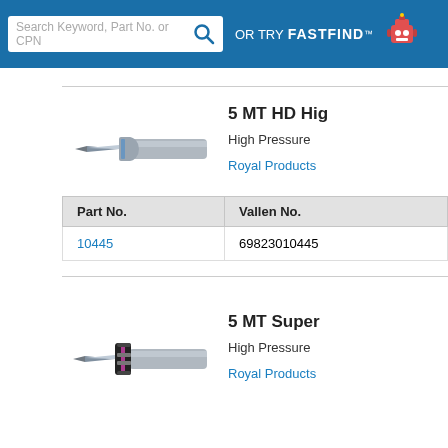Search Keyword, Part No. or CPN | OR TRY FASTFIND™
[Figure (photo): 5 MT HD High Pressure lathe center tool with pointed tip and cylindrical shank]
5 MT HD Hig
High Pressure
Royal Products
| Part No. | Vallen No. |
| --- | --- |
| 10445 | 69823010445 |
[Figure (photo): 5 MT Super High Pressure lathe center with black disc rings and pointed tip]
5 MT Super
High Pressure
Royal Products